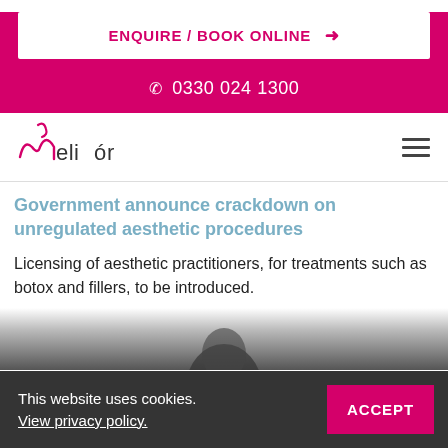ENQUIRE / BOOK ONLINE →
☎ 0330 024 1300
[Figure (logo): Melior clinic logo with stylized pink cursive m mark and 'meliór' wordmark in dark grey]
Government announce crackdown on unregulated aesthetic procedures
Licensing of aesthetic practitioners, for treatments such as botox and fillers, to be introduced.
[Figure (photo): Partial photo of a person's face/head, dark background, partially visible at bottom of page]
This website uses cookies. View privacy policy.
ACCEPT